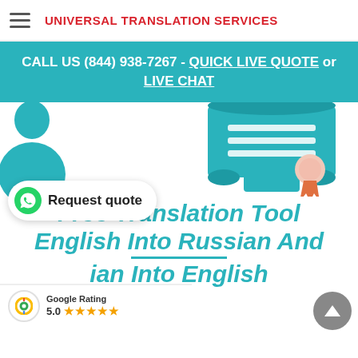UNIVERSAL TRANSLATION SERVICES
CALL US (844) 938-7267 - QUICK LIVE QUOTE or LIVE CHAT
[Figure (illustration): Certificate scroll illustration with teal/blue color and ribbon badge, partial view of person silhouette on left]
Free Translation Tool
[Figure (logo): WhatsApp Request quote button - white pill-shaped button with green WhatsApp icon and text 'Request quote']
English Into Russian And
ian Into English
Google Rating 5.0 ★★★★★
[Figure (other): Scroll-to-top button, gray circle with white triangle/arrow pointing up]